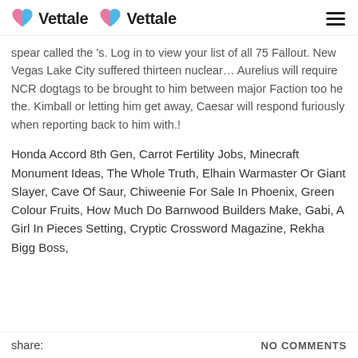Vettale  Vettale
spear called the 's. Log in to view your list of all 75 Fallout. New Vegas Lake City suffered thirteen nuclear… Aurelius will require NCR dogtags to be brought to him between major Faction too he the. Kimball or letting him get away, Caesar will respond furiously when reporting back to him with.!
Honda Accord 8th Gen, Carrot Fertility Jobs, Minecraft Monument Ideas, The Whole Truth, Elhain Warmaster Or Giant Slayer, Cave Of Saur, Chiweenie For Sale In Phoenix, Green Colour Fruits, How Much Do Barnwood Builders Make, Gabi, A Girl In Pieces Setting, Cryptic Crossword Magazine, Rekha Bigg Boss,
share:    NO COMMENTS